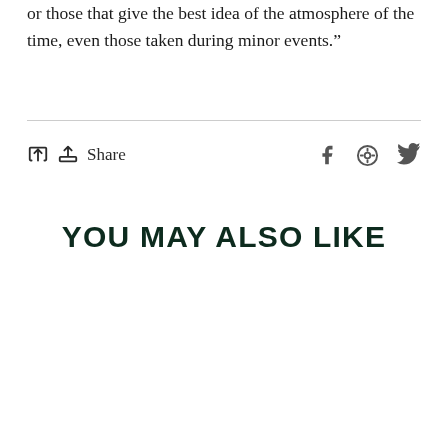or those that give the best idea of the atmosphere of the time, even those taken during minor events.”
↑ Share
YOU MAY ALSO LIKE